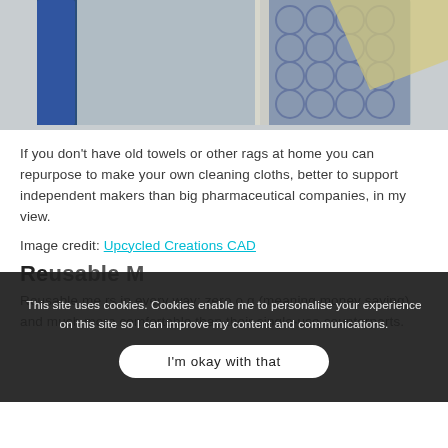[Figure (photo): Close-up photo of a crocheted/textile cleaning cloth with blue and white/grey circular patterns on a light grey background.]
If you don't have old towels or other rags at home you can repurpose to make your own cleaning cloths, better to support independent makers than big pharmaceutical companies, in my view.
Image credit: Upcycled Creations CAD
Reusable M... [partially obscured]
Reusable me... rs in every way: zero o... (meaning money saving) and much more comfortable than their single-use counterparts.
This site uses cookies. Cookies enable me to personalise your experience on this site so I can improve my content and communications.